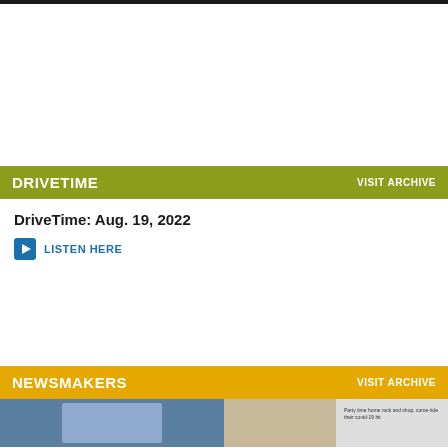DRIVETIME
DriveTime: Aug. 19, 2022
LISTEN HERE
NEWSMAKERS
[Figure (photo): Newsmakers thumbnail images at the bottom of the page]